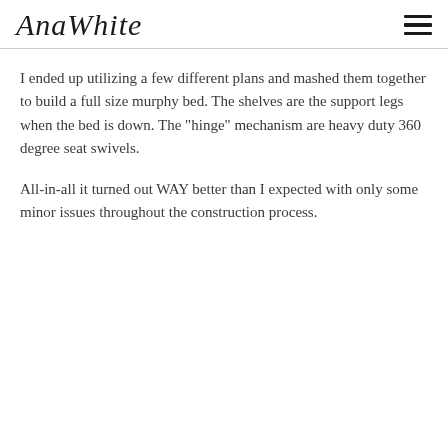AnaWhite
I ended up utilizing a few different plans and mashed them together to build a full size murphy bed.  The shelves are the support legs when the bed is down.  The "hinge" mechanism are heavy duty 360 degree seat swivels.
All-in-all it turned out WAY better than I expected with only some minor issues throughout the construction process.